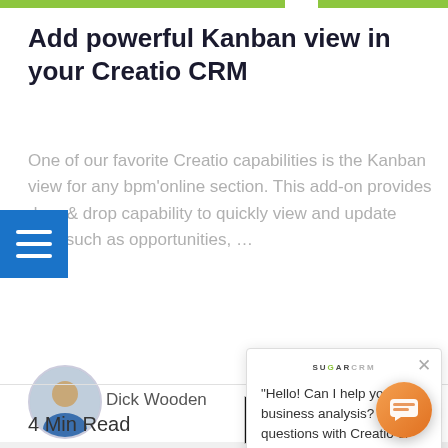Add powerful Kanban view in your Creatio CRM
One of our favorite Creatio capabilities is the Kanban view for any bpm'online section. This add-on provides drag & drop capability to quickly view and update data such as opportunities, …
[Figure (photo): Author avatar photo of Dick Wooden]
Dick Wooden
4 Min Read
[Figure (screenshot): Chat popup with SugarCRM logo saying: "Hello! Can I help you with business analysis? Or questions with Creatio or ACT?" with a close button]
[Figure (screenshot): Bottom screenshot strip showing a CRM interface with SAVE and NEW buttons and row data]